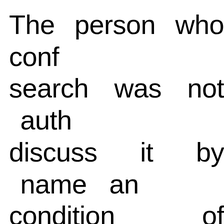The person who conf search was not auth discuss it by name and condition of anonymity. Among those who hav subpoenas, according to familiar with the matte not authorized to d ongoing investigation w